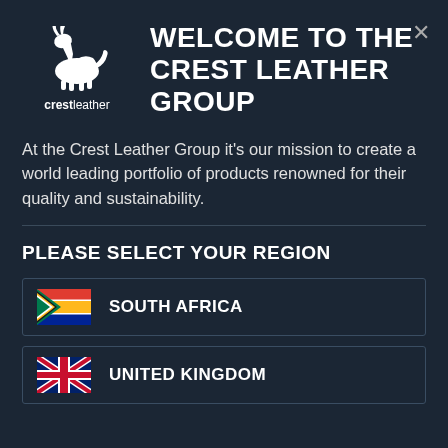[Figure (logo): Crest Leather Group logo: white springbok/antelope silhouette above text 'crestleather']
WELCOME TO THE CREST LEATHER GROUP
At the Crest Leather Group it's our mission to create a world leading portfolio of products renowned for their quality and sustainability.
PLEASE SELECT YOUR REGION
[Figure (illustration): South Africa flag next to text SOUTH AFRICA in a bordered region selection box]
[Figure (illustration): United Kingdom flag next to text UNITED KINGDOM in a bordered region selection box]